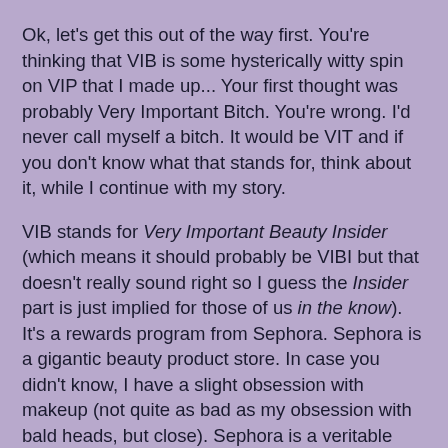Ok, let's get this out of the way first. You're thinking that VIB is some hysterically witty spin on VIP that I made up... Your first thought was probably Very Important Bitch. You're wrong. I'd never call myself a bitch. It would be VIT and if you don't know what that stands for, think about it, while I continue with my story.
VIB stands for Very Important Beauty Insider (which means it should probably be VIBI but that doesn't really sound right so I guess the Insider part is just implied for those of us in the know). It's a rewards program from Sephora. Sephora is a gigantic beauty product store. In case you didn't know, I have a slight obsession with makeup (not quite as bad as my obsession with bald heads, but close). Sephora is a veritable wonderland of over-priced goods for the vain and self-absorbed woman (or man).
If you happen to be an artist, imagine a store where every shelf is stocked with any and every kind of drawing, writing and painting implement imaginable. Now imagine that there are "testers" in front of every shelf, along with blank canvases everywhere that allow you to test the products...